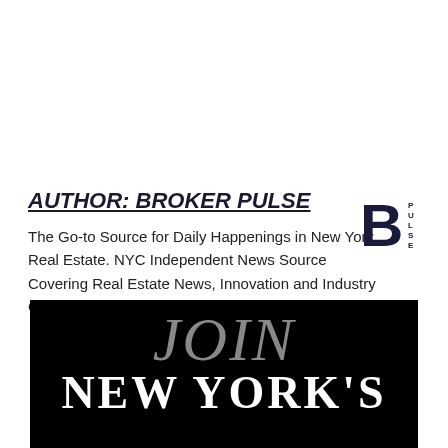AUTHOR: BROKER PULSE
The Go-to Source for Daily Happenings in New York Real Estate. NYC Independent News Source Covering Real Estate News, Innovation and Industry Opinion.
[Figure (logo): Broker Pulse logo: large bold B with 'PULSE' text on the right side, dark navy color]
[Figure (illustration): Black background advertisement image with gray italic 'JOIN' text and white bold 'NEW YORK'S' text below it]